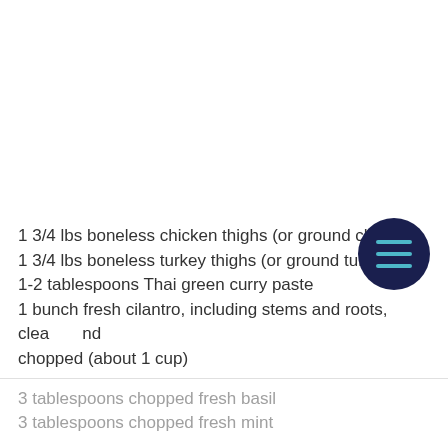1 3/4 lbs boneless chicken thighs (or ground chicken)
1 3/4 lbs boneless turkey thighs (or ground turkey)
1-2 tablespoons Thai green curry paste
1 bunch fresh cilantro, including stems and roots, cleaned and chopped (about 1 cup)
3 tablespoons chopped fresh basil
3 tablespoons chopped fresh mint